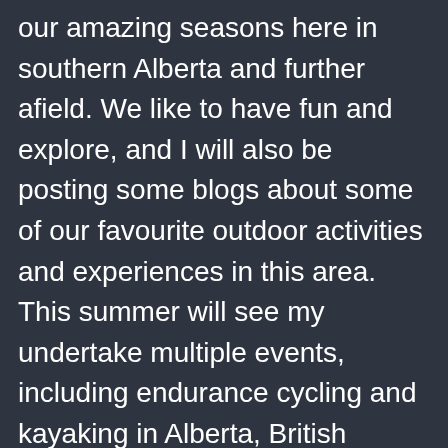our amazing seasons here in southern Alberta and further afield. We like to have fun and explore, and I will also be posting some blogs about some of our favourite outdoor activities and experiences in this area. This summer will see my undertake multiple events, including endurance cycling and kayaking in Alberta, British Columbia and Sakskatchewan (and even some trips further afield)! I will be trying to cover at least 3,500 Km of self-propelled adventure between June and September. 3,500 Km is intended to